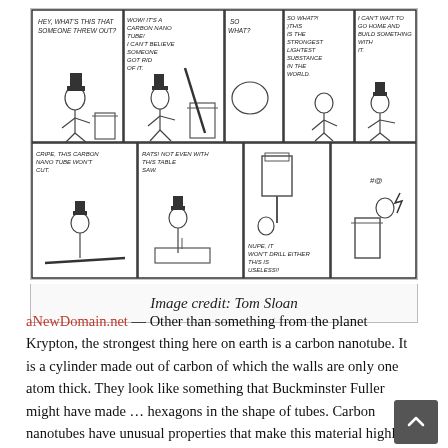[Figure (illustration): A six-panel comic strip about carbon nanotubes by Tom Sloan. Top row: Panel 1 — a man sees something on the ground and says 'Hey, what's this that someone threw out?'. Panel 2 — man picks up a carbon nanotube from a trash can: 'Wow! It's a carbon nano tube! I can't believe someone got rid of it.' Panel 3 — another character reacts. Panel 4 — character says 'So what? This is the strongest lightest substance in the world.' Panel 5 — character says 'I can't wait to go home and build something with it.' Bottom row: Panel 1 — 'Cripe, this carbon nano tube won't cut.' Panel 2 — 'Rats! Not even with this table saw.' Panel 3 — character tries drilling. Panel 4 — character throws nanotube back in trash and walks away.]
Image credit: Tom Sloan
aNewDomain.net — Other than something from the planet Krypton, the strongest thing here on earth is a carbon nanotube. It is a cylinder made out of carbon of which the walls are only one atom thick. They look like something that Buckminster Fuller might have made … hexagons in the shape of tubes. Carbon nanotubes have unusual properties that make this material highly useful and